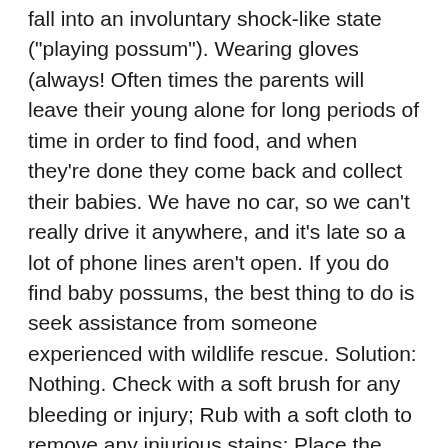fall into an involuntary shock-like state ("playing possum"). Wearing gloves (always! Often times the parents will leave their young alone for long periods of time in order to find food, and when they're done they come back and collect their babies. We have no car, so we can't really drive it anywhere, and it's late so a lot of phone lines aren't open. If you do find baby possums, the best thing to do is seek assistance from someone experienced with wildlife rescue. Solution: Nothing. Check with a soft brush for any bleeding or injury; Rub with a soft cloth to remove any injurious stains; Place the baby in the ... Place it under a ... Call the Helpline immediately to get the name of a rehabilitator. Baby opossums are born as embryos, barely larger than a bee, and spend about two months nursing in their mother's pouch. FINDING A